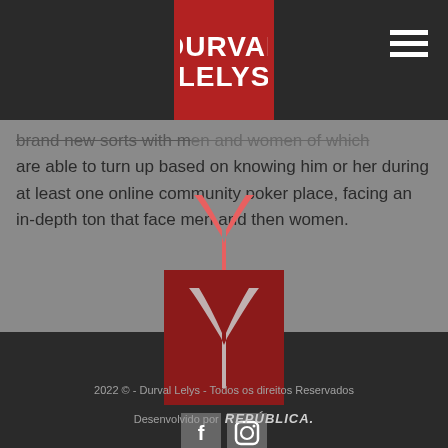Durval Lelys
brand new sorts with men and women of which are able to turn up based on knowing him or her during at least one online community poker place, facing an in-depth ton that face men and then women.
[Figure (logo): Durval Lelys logo - red square with Y shape, social media icons (Facebook, Instagram), and #SigaDurval hashtag]
2022 © - Durval Lelys - Todos os direitos Reservados
Desenvolvido por REPÚBLICA.